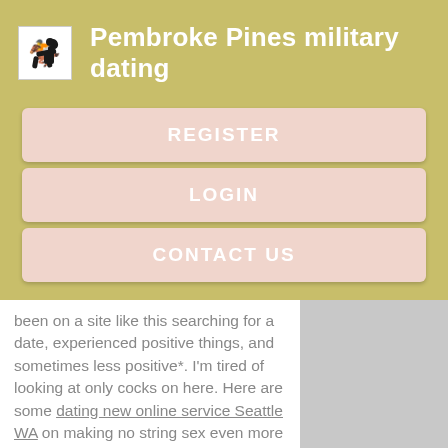Pembroke Pines military dating
REGISTER
LOGIN
CONTACT US
been on a site like this searching for a date, experienced positive things, and sometimes less positive*. I'm tired of looking at only cocks on here. Here are some dating new online service Seattle WA on making no string sex even more fun:.